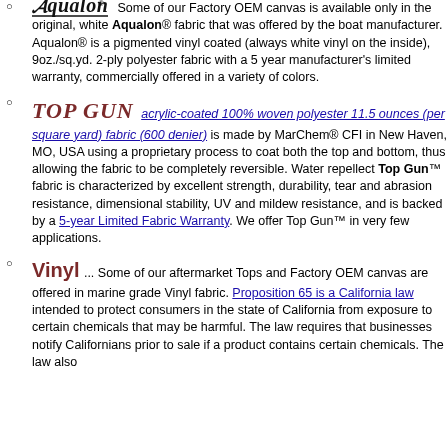Some of our Factory OEM canvas is available only in the original, white Aqualon® fabric that was offered by the boat manufacturer. Aqualon® is a pigmented vinyl coated (always white vinyl on the inside), 9oz./sq.yd. 2-ply polyester fabric with a 5 year manufacturer's limited warranty, commercially offered in a variety of colors.
TOP GUN acrylic-coated 100% woven polyester 11.5 ounces (per square yard) fabric (600 denier) is made by MarChem® CFI in New Haven, MO, USA using a proprietary process to coat both the top and bottom, thus allowing the fabric to be completely reversible. Water repellect Top Gun™ fabric is characterized by excellent strength, durability, tear and abrasion resistance, dimensional stability, UV and mildew resistance, and is backed by a 5-year Limited Fabric Warranty. We offer Top Gun™ in very few applications.
Vinyl ... Some of our aftermarket Tops and Factory OEM canvas are offered in marine grade Vinyl fabric. Proposition 65 is a California law intended to protect consumers in the state of California from exposure to certain chemicals that may be harmful. The law requires that businesses notify Californians prior to sale if a product contains certain chemicals. The law also